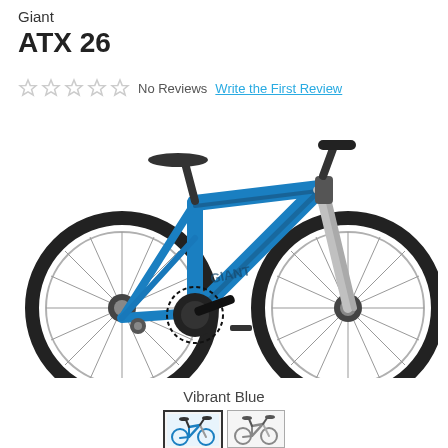Giant ATX 26
No Reviews  Write the First Review
[Figure (photo): Giant ATX 26 mountain bike in Vibrant Blue color, side profile view showing full bike with knobby tires, front suspension fork, and blue aluminum frame]
Vibrant Blue
[Figure (photo): Two small thumbnail images of the Giant ATX 26 bike showing color variants - Vibrant Blue (selected) and a lighter/grey color option]